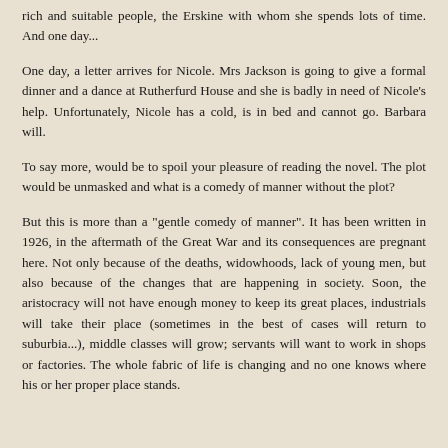rich and suitable people, the Erskine with whom she spends lots of time. And one day...
One day, a letter arrives for Nicole. Mrs Jackson is going to give a formal dinner and a dance at Rutherfurd House and she is badly in need of Nicole's help. Unfortunately, Nicole has a cold, is in bed and cannot go. Barbara will.
To say more, would be to spoil your pleasure of reading the novel. The plot would be unmasked and what is a comedy of manner without the plot?
But this is more than a "gentle comedy of manner". It has been written in 1926, in the aftermath of the Great War and its consequences are pregnant here. Not only because of the deaths, widowhoods, lack of young men, but also because of the changes that are happening in society. Soon, the aristocracy will not have enough money to keep its great places, industrials will take their place (sometimes in the best of cases will return to suburbia...), middle classes will grow; servants will want to work in shops or factories. The whole fabric of life is changing and no one knows where his or her proper place stands.